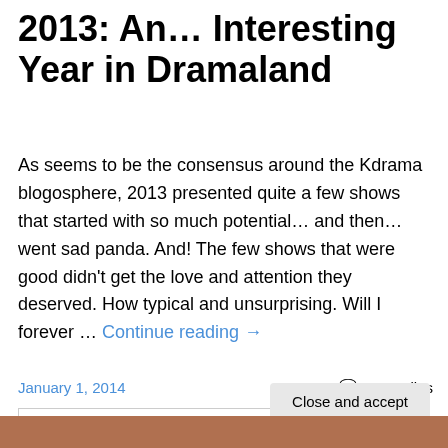2013: An… Interesting Year in Dramaland
As seems to be the consensus around the Kdrama blogosphere, 2013 presented quite a few shows that started with so much potential… and then… went sad panda.  And!  The few shows that were good didn't get the love and attention they deserved.  How typical and unsurprising.  Will I forever … Continue reading →
January 1, 2014   22 Replies
Privacy & Cookies: This site uses cookies. By continuing to use this website, you agree to their use.
To find out more, including how to control cookies, see here: Cookie Policy
[Figure (photo): Photo strip at the bottom of the page showing people]